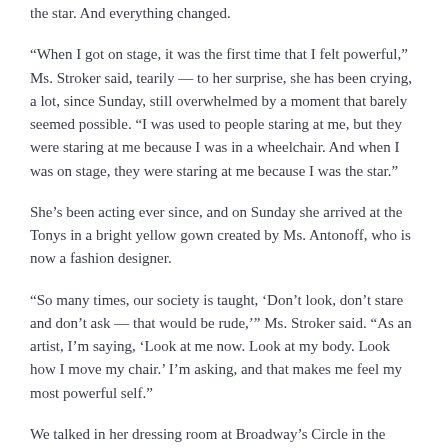the star. And everything changed.
“When I got on stage, it was the first time that I felt powerful,” Ms. Stroker said, tearily — to her surprise, she has been crying, a lot, since Sunday, still overwhelmed by a moment that barely seemed possible. “I was used to people staring at me, but they were staring at me because I was in a wheelchair. And when I was on stage, they were staring at me because I was the star.”
She’s been acting ever since, and on Sunday she arrived at the Tonys in a bright yellow gown created by Ms. Antonoff, who is now a fashion designer.
“So many times, our society is taught, ‘Don’t look, don’t stare and don’t ask — that would be rude,’” Ms. Stroker said. “As an artist, I’m saying, ‘Look at me now. Look at my body. Look how I move my chair.’ I’m asking, and that makes me feel my most powerful self.”
We talked in her dressing room at Broadway’s Circle in the Square theater on Tuesday afternoon, just before her first